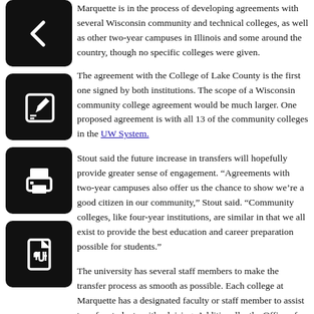Marquette is in the process of developing agreements with several Wisconsin community and technical colleges, as well as other two-year campuses in Illinois and some around the country, though no specific colleges were given.
The agreement with the College of Lake County is the first one signed by both institutions. The scope of a Wisconsin community college agreement would be much larger. One proposed agreement is with all 13 of the community colleges in the UW System.
Stout said the future increase in transfers will hopefully provide greater sense of engagement. "Agreements with two-year campuses also offer us the chance to show we're a good citizen in our community," Stout said. "Community colleges, like four-year institutions, are similar in that we all exist to provide the best education and career preparation possible for students."
The university has several staff members to make the transfer process as smooth as possible. Each college at Marquette has a designated faculty or staff member to assist transfer students with advising. Additionally, the Office of Undergraduate Admissions has a team of transfer counselors to handle questions from transfer students. A transfer credit specialist is also employed with the Office of the Registrar to facilitate the credit transfer review process.